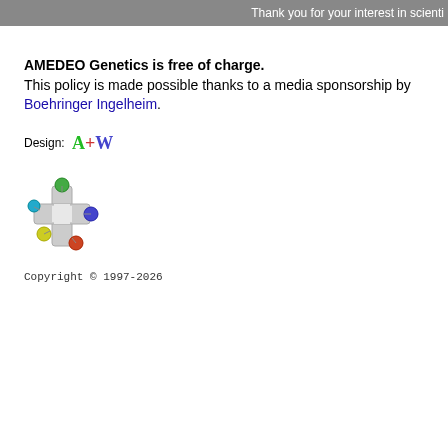Thank you for your interest in scienti
AMEDEO Genetics is free of charge.
This policy is made possible thanks to a media sponsorship by Boehringer Ingelheim.
Design: A+W
[Figure (logo): AMEDEO medical cross logo with colorful molecular nodes]
Copyright © 1997-2026